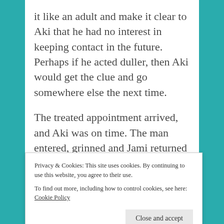it like an adult and make it clear to Aki that he had no interest in keeping contact in the future. Perhaps if he acted duller, then Aki would get the clue and go somewhere else the next time.
The treated appointment arrived, and Aki was on time. The man entered, grinned and Jami returned the grin with short, unhappy smile.
“Damn cold out.” Aki took note and Jami nodded
Privacy & Cookies: This site uses cookies. By continuing to use this website, you agree to their use.
To find out more, including how to control cookies, see here: Cookie Policy
voice after Aki had sat down and he had